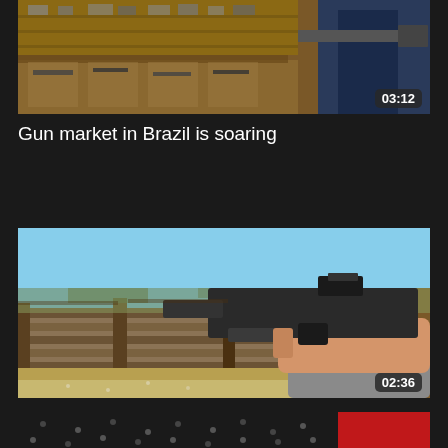[Figure (screenshot): Video thumbnail showing a gun shop interior with display cases and a person holding a rifle, duration badge showing 03:12]
Gun market in Brazil is soaring
[Figure (screenshot): Video thumbnail showing a person holding a handgun with a tactical light at an outdoor shooting range with wooden fence barriers, duration badge showing 02:36]
Mexico blames U.S. for illegal guns flow
[Figure (screenshot): Partial video thumbnail showing a dark image with small icons on a dark background and a red panel on the right side]